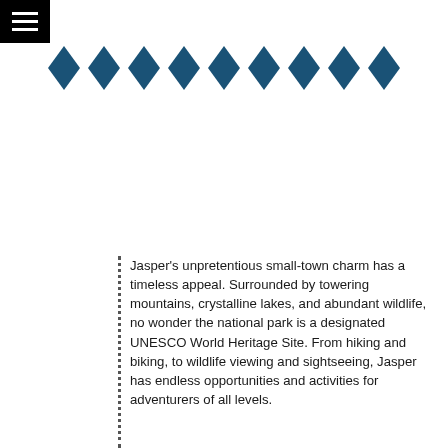[Figure (other): Black hamburger/menu button icon (three horizontal white lines on black background) in top-left corner]
[Figure (other): Row of nine teal/dark blue diamond shapes used as a decorative divider]
Jasper's unpretentious small-town charm has a timeless appeal. Surrounded by towering mountains, crystalline lakes, and abundant wildlife, no wonder the national park is a designated UNESCO World Heritage Site. From hiking and biking, to wildlife viewing and sightseeing, Jasper has endless opportunities and activities for adventurers of all levels.